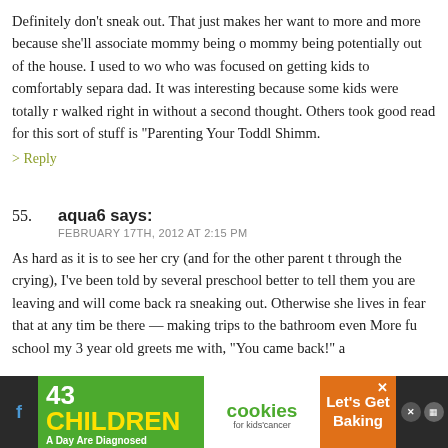Definitely don't sneak out. That just makes her want to more and more because she'll associate mommy being gone mommy being potentially out of the house. I used to wo who was focused on getting kids to comfortably separa dad. It was interesting because some kids were totally r walked right in without a second thought. Others took good read for this sort of stuff is "Parenting Your Toddl Shimm.
> Reply
55. aqua6 says:
FEBRUARY 17TH, 2012 AT 2:15 PM
As hard as it is to see her cry (and for the other parent t through the crying), I've been told by several preschool better to tell them you are leaving and will come back ra sneaking out. Otherwise she lives in fear that at any tim be there — making trips to the bathroom even More fu school my 3 year old greets me with, "You came back!" a
[Figure (infographic): Advertisement banner: green background with '43 CHILDREN A Day Are Diagnosed With Cancer in the U.S.' on the left, cookies for kids' cancer logo in the middle, and 'Let's Get Baking' on an orange background on the right.]